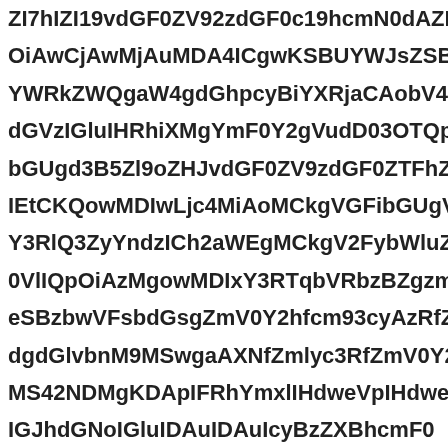ZI7hIZI19vdGF0ZV92zdGF0c19hcmN0dAZIGIBGbGRhb OiAwCjAwMjAuMDA4ICgwKSBUYWJsZSB3cHImX2 YWRkZWQgaW4gdGhpcyBiYXRjaCAobV4dCByZW dGVzIGluIHRoaXMgYmF0Y2gVudD03OTQpIGluIDAu bGUgd3B5Zl9oZHJvdGF0ZV9zdGF0ZTFhZHMNoaXZlQ IEtCKQowMDIwLjc4MiAoMCkgVGFibGUgVGFibGUgd3B5Zl9o Y3RlQ3ZyYndzICh2aWEgMCkgV2FybWluZyBmb3It0VlIQpOiAzMgowMDIx Y3RTqbVRbzBZgzmV0Y2hfcm93cllHRodXM eSBzbwVFsbdGsgZmV0Y2hfcm93cyAzRfZmV0Y2g dgdGlvbnM9MSwgaAXNfZmlyc3RfZmV0Y2hfcm0ga25vd MS42NDMgKDApIFRhYmxlIHdweVpIHdweWZfY W1sIHdweVpIHdweVpIHdweVpIHdweVpIHdweVpIHd cyBzZWR0ZW50PTIzMDYpIGluIDAuIDAuIcyBzZXBhcmF0 ZHJvdGF0ZV9zdGF0ZTFhZHMNNoaXZlQ dlsmZHJkZW50cyACkgQq MCkgVGFibGUgVGFibGUgd3B5Zl9oZEl9ha19oZWX MCkgVGFibGUgKTogVGFibGUgVGFibGUgVGFibGUgd3B5Zl9o KTogVGFibGUVGFibGUgd3B5Zl9oZWFkZXIzMTE5 cyBiWXRjaCAobWN0ZGF0ZV9zdGF0ZXMNNoaXZlQOi cyBzZWR0ZW50PTQxMSkga2dhVMgdGxnQ0OCBzzWNvb